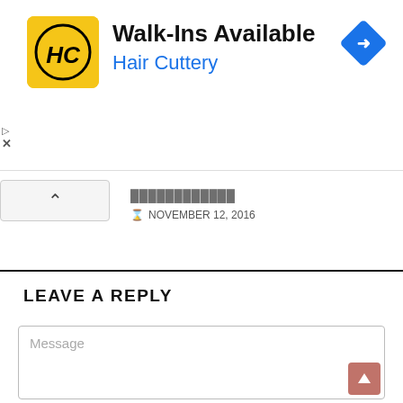[Figure (screenshot): Advertisement banner for Hair Cuttery with yellow logo, bold text 'Walk-Ins Available' and blue subtitle 'Hair Cuttery', with a blue navigation diamond icon on the right]
NOVEMBER 12, 2016
LEAVE A REPLY
Message